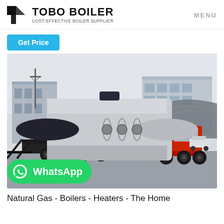TOBO BOILER — COST-EFFECTIVE BOILER SUPPLIER | MENU
Get Price
[Figure (photo): Large industrial boiler loaded horizontally on a flatbed semi-truck trailer in a factory yard, with industrial buildings and a curved canopy structure in the background.]
WhatsApp
Natural Gas - Boilers - Heaters - The Home